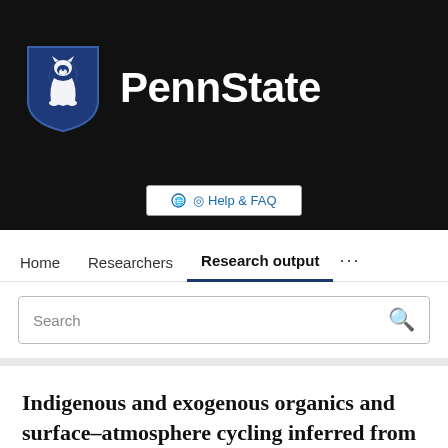[Figure (logo): Penn State University logo: white nittany lion shield on dark background with 'PennState' text in white bold font]
Help & FAQ
Home   Researchers   Research output   ...
Search
Indigenous and exogenous organics and surface–atmosphere cycling inferred from carbon and oxygen isotopes at Gale crater